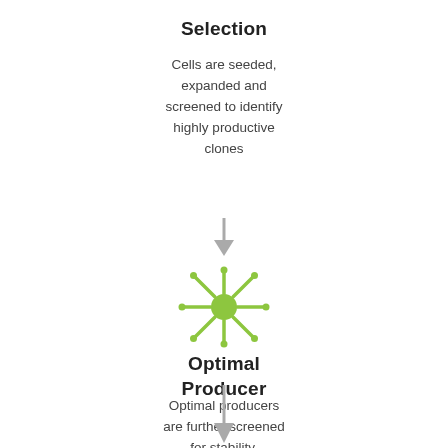Selection
Cells are seeded, expanded and screened to identify highly productive clones
[Figure (flowchart): Downward arrow indicating flow to next step]
[Figure (illustration): Green starburst/cell icon representing optimal producer cell]
Optimal Producer
Optimal producers are further screened for stability, functionality and safety
[Figure (flowchart): Downward arrow indicating flow to next step]